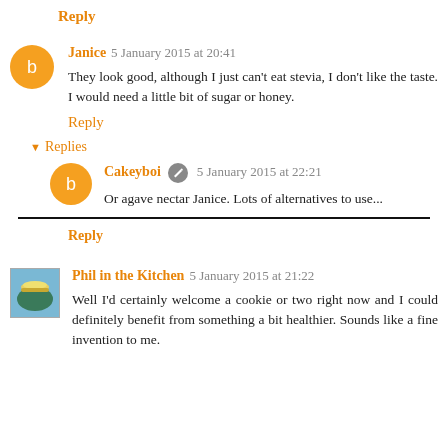Reply
Janice 5 January 2015 at 20:41
They look good, although I just can't eat stevia, I don't like the taste. I would need a little bit of sugar or honey.
Reply
▾ Replies
Cakeyboi 5 January 2015 at 22:21
Or agave nectar Janice. Lots of alternatives to use...
Reply
Phil in the Kitchen 5 January 2015 at 21:22
Well I'd certainly welcome a cookie or two right now and I could definitely benefit from something a bit healthier. Sounds like a fine invention to me.